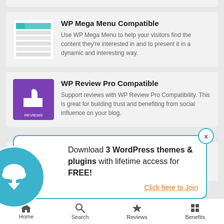[Figure (screenshot): Top strip of a card (partial, cropped at top)]
WP Mega Menu Compatible
Use WP Mega Menu to help your visitors find the content they're interested in and to present it in a dynamic and interesting way.
WP Review Pro Compatible
Support reviews with WP Review Pro Compatibility. This is great for building trust and benefiting from social influence on your blog.
WP Subscribe Pro Compatible
Download 3 WordPress themes & plugins with lifetime access for FREE!
Click here to Join
Home   Search   Reviews   Benefits